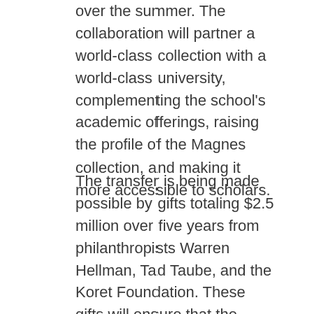over the summer. The collaboration will partner a world-class collection with a world-class university, complementing the school's academic offerings, raising the profile of the Magnes collection, and making it more accessible to scholars.
The transfer is being made possible by gifts totaling $2.5 million over five years from philanthropists Warren Hellman, Tad Taube, and the Koret Foundation. These gifts will ensure that the acquisition is built on a solid and self-sustaining financial model.
Support from other Magnes Museum donors will finance the renovation of a building at 2121 Allston Way, in the heart of the city of